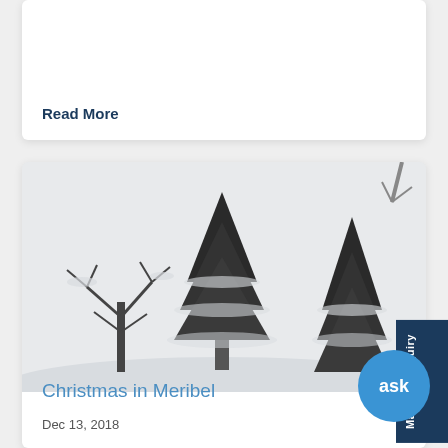Read More
[Figure (photo): Winter snow scene with snow-covered evergreen trees and bare deciduous trees against a pale sky, black and white photo]
Christmas in Meribel
Dec 13, 2018
Make an Enquiry
ask